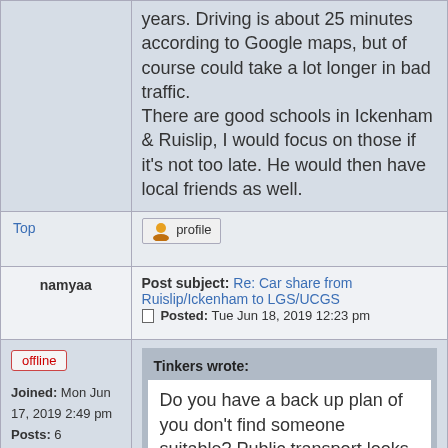years. Driving is about 25 minutes according to Google maps, but of course could take a lot longer in bad traffic. There are good schools in Ickenham & Ruislip, I would focus on those if it's not too late. He would then have local friends as well.
Top
profile
namyaa
Post subject: Re: Car share from Ruislip/Ickenham to LGS/UCGS  Posted: Tue Jun 18, 2019 12:23 pm
offline
Joined: Mon Jun 17, 2019 2:49 pm
Posts: 6
Tinkers wrote:
Do you have a back up plan of you don't find someone suitable? Public transport looks unfeasible.